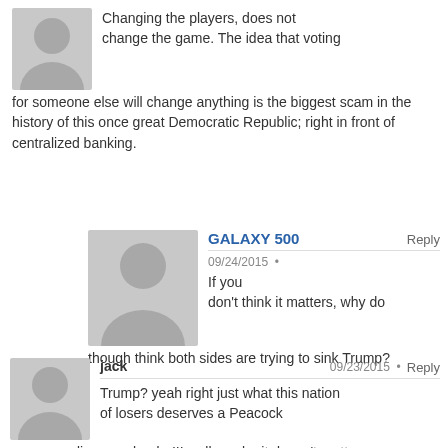Changing the players, does not change the game. The idea that voting for someone else will change anything is the biggest scam in the history of this once great Democratic Republic; right in front of centralized banking.
GALAXY 500
09/24/2015
If you don't think it matters, why do though think both sides are trying to sink Trump?
jack
09/23/2015
Trump? yeah right just what this nation of losers deserves a Peacock masquerading as a leader!!! well maybe it doesn't matter anymore. voting for the lesser of evils is still evil .